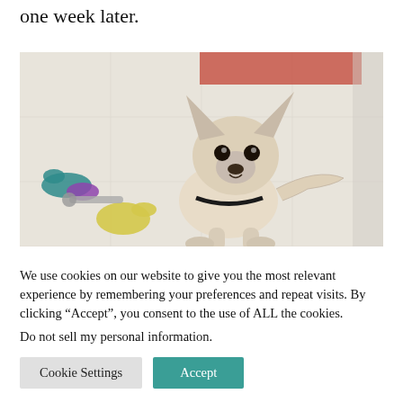one week later.
[Figure (photo): A small chihuahua dog standing on white tile floor, looking up at camera, with colorful stuffed toy animals scattered around it in the background.]
We use cookies on our website to give you the most relevant experience by remembering your preferences and repeat visits. By clicking “Accept”, you consent to the use of ALL the cookies.
Do not sell my personal information.
Cookie Settings
Accept